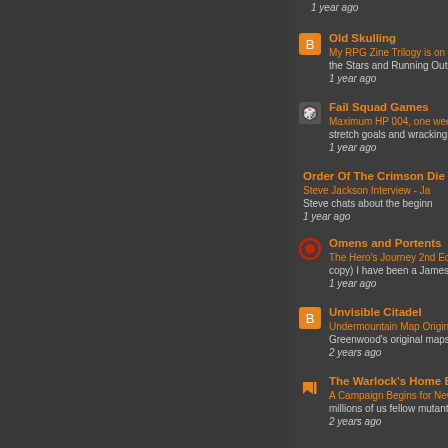1 year ago
Old Skulling
My RPG Zine Trilogy is on Ki... the Stars and Running Out of...
1 year ago
Fail Squad Games
Maximum HP 004, one week... stretch goals and wracking up...
1 year ago
Order Of The Crimson Die...
Steve Jackson Interview - Ja... Steve chats about the beginn...
1 year ago
Omens and Portents
The Hero's Journey 2nd Editi... copy) I have been a James M...
1 year ago
Unvisible Citadel
Undermountain Map Origins... Greenwood's original maps,"...
2 years ago
The Warlock's Home Brew...
A Campaign Begins for Newb... millions of us fellow mutants i...
2 years ago